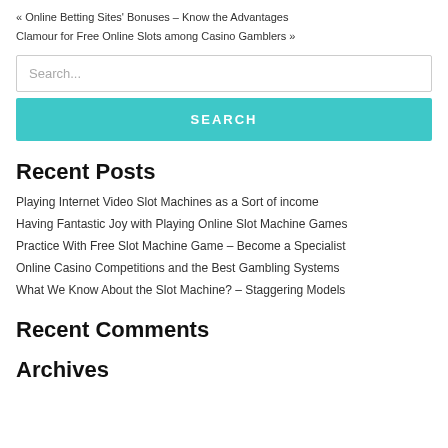« Online Betting Sites' Bonuses – Know the Advantages
Clamour for Free Online Slots among Casino Gamblers »
Search...
SEARCH
Recent Posts
Playing Internet Video Slot Machines as a Sort of income
Having Fantastic Joy with Playing Online Slot Machine Games
Practice With Free Slot Machine Game – Become a Specialist
Online Casino Competitions and the Best Gambling Systems
What We Know About the Slot Machine? – Staggering Models
Recent Comments
Archives